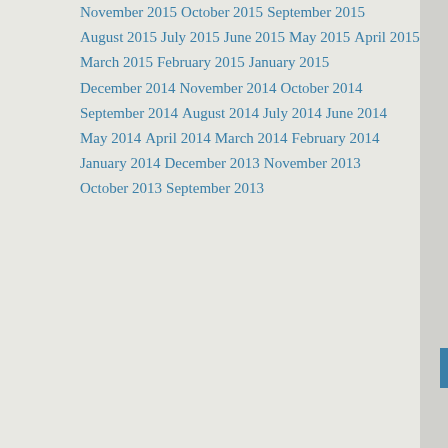November 2015
October 2015
September 2015
August 2015
July 2015
June 2015
May 2015
April 2015
March 2015
February 2015
January 2015
December 2014
November 2014
October 2014
September 2014
August 2014
July 2014
June 2014
May 2014
April 2014
March 2014
February 2014
January 2014
December 2013
November 2013
October 2013
September 2013